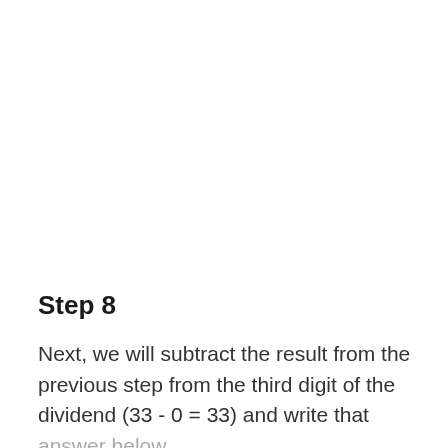Step 8
Next, we will subtract the result from the previous step from the third digit of the dividend (33 - 0 = 33) and write that answer below.